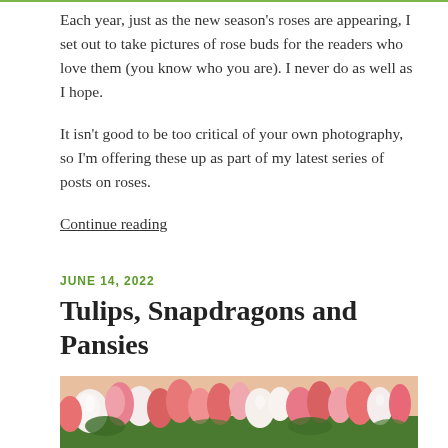Each year, just as the new season’s roses are appearing, I set out to take pictures of rose buds for the readers who love them (you know who you are). I never do as well as I hope.
It isn’t good to be too critical of your own photography, so I’m offering these up as part of my latest series of posts on roses.
Continue reading
JUNE 14, 2022
Tulips, Snapdragons and Pansies
[Figure (photo): A photo of colorful tulips and flowers — pink, red, and white blooms densely arranged, viewed from above.]